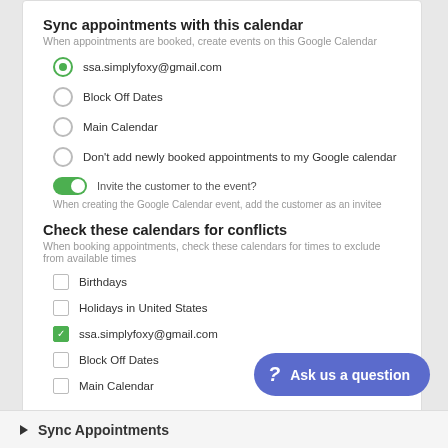Sync appointments with this calendar
When appointments are booked, create events on this Google Calendar
ssa.simplyfoxy@gmail.com (selected radio)
Block Off Dates
Main Calendar
Don't add newly booked appointments to my Google calendar
Invite the customer to the event? (toggle on)
When creating the Google Calendar event, add the customer as an invitee
Check these calendars for conflicts
When booking appointments, check these calendars for times to exclude from available times
Birthdays (unchecked)
Holidays in United States (unchecked)
ssa.simplyfoxy@gmail.com (checked)
Block Off Dates (unchecked)
Main Calendar (unchecked)
Ask us a question
Sync Appointments